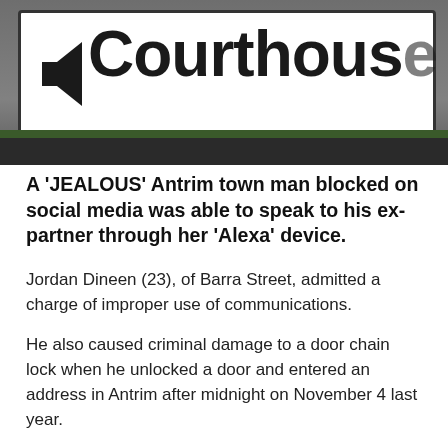[Figure (photo): Photograph of a British road sign reading 'Courthouse' with a left-pointing arrow, against a dark background with greenery visible below]
A 'JEALOUS' Antrim town man blocked on social media was able to speak to his ex-partner through her 'Alexa' device.
Jordan Dineen (23), of Barra Street, admitted a charge of improper use of communications.
He also caused criminal damage to a door chain lock when he unlocked a door and entered an address in Antrim after midnight on November 4 last year.